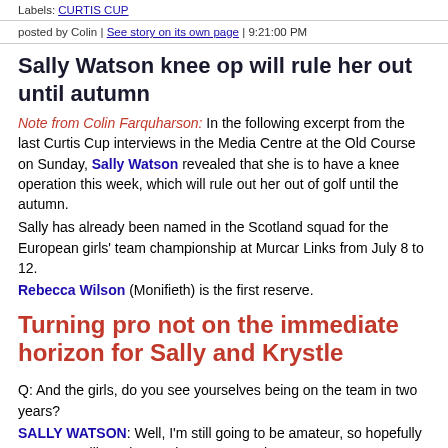Labels: CURTIS CUP
posted by Colin | See story on its own page | 9:21:00 PM
Sally Watson knee op will rule her out until autumn
Note from Colin Farquharson: In the following excerpt from the last Curtis Cup interviews in the Media Centre at the Old Course on Sunday, Sally Watson revealed that she is to have a knee operation this week, which will rule out her out of golf until the autumn.
Sally has already been named in the Scotland squad for the European girls' team championship at Murcar Links from July 8 to 12.
Rebecca Wilson (Monifieth) is the first reserve.
Turning pro not on the immediate horizon for Sally and Krystle
Q: And the girls, do you see yourselves being on the team in two years?
SALLY WATSON: Well, I'm still going to be amateur, so hopefully my game will continue to improve over the next two